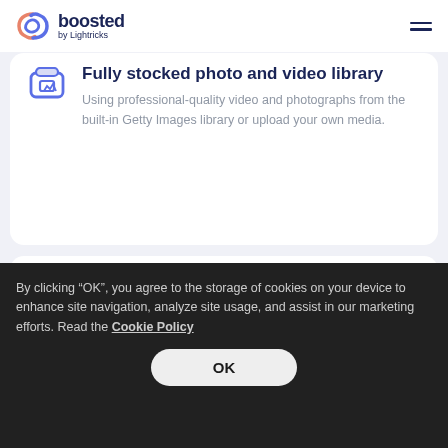[Figure (logo): Boosted by Lightricks logo — abstract looping icon in blue and orange, with 'boosted' in dark navy bold text and 'by Lightricks' in smaller text below]
Fully stocked photo and video library
Using professional-quality video and photographs from the built-in Getty Images library or upload your own media.
Add a soundtrack from huge licensed music
By clicking “OK”, you agree to the storage of cookies on your device to enhance site navigation, analyze site usage, and assist in our marketing efforts. Read the Cookie Policy
OK